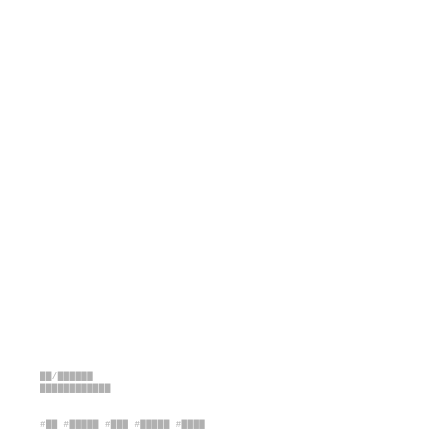██/██████
████████████
#██ #█████ #███ #█████ #████